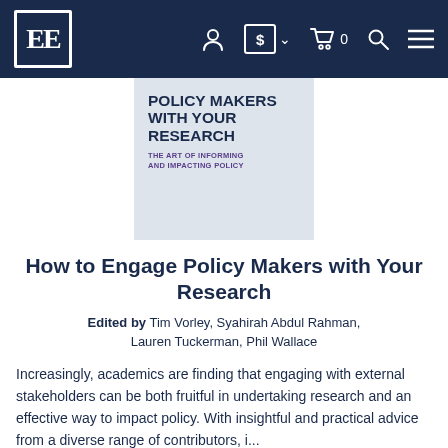EE [logo] navigation bar with account, currency, cart, search, menu icons
[Figure (illustration): Book cover for 'Policy Makers With Your Research: The Art of Informing and Impacting Policy' with dark blue and light blue-grey design]
How to Engage Policy Makers with Your Research
Edited by Tim Vorley, Syahirah Abdul Rahman, Lauren Tuckerman, Phil Wallace
Increasingly, academics are finding that engaging with external stakeholders can be both fruitful in undertaking research and an effective way to impact policy. With insightful and practical advice from a diverse range of contributors, i...